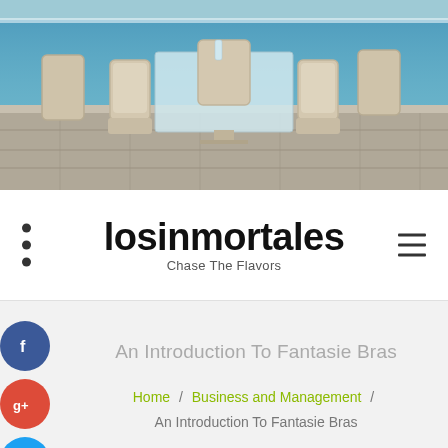[Figure (photo): Outdoor patio scene with wicker furniture (chairs and a glass table) beside a swimming pool on a stone tile surface.]
losinmortales
Chase The Flavors
An Introduction To Fantasie Bras
Home / Business and Management / An Introduction To Fantasie Bras